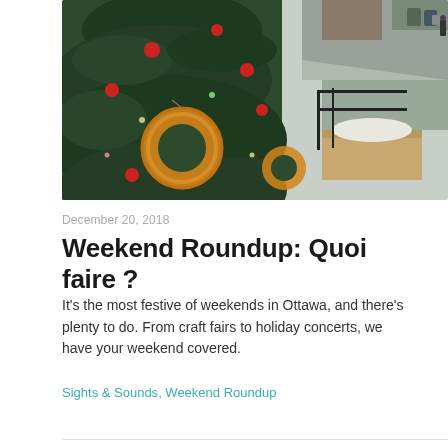[Figure (photo): Outdoor Christmas tree decorated with bagel ornaments, red ball ornaments, and lights. A city street with a railing and snow patches is visible in the background.]
December 20, 2018
Weekend Roundup: Quoi faire ?
It’s the most festive of weekends in Ottawa, and there’s plenty to do. From craft fairs to holiday concerts, we have your weekend covered.
Sights & Sounds, Weekend Roundup